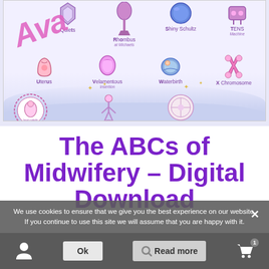[Figure (illustration): Colorful midwifery ABC illustration showing items for letters Q through Z: Quartz, Rhombus at Michaels, Shiny Schultz, TENS Machine, Uterus, Velamentous Insertion, Waterbirth, X Chromosome, Yoga, Zygote. Has a pink/purple watermark 'Ava' overlaid diagonally, and a round midwife logo badge. Background is light lavender with cloud shapes at bottom.]
The ABCs of Midwifery – Digital Download
We use cookies to ensure that we give you the best experience on our website. If you continue to use this site we will assume that you are happy with it.